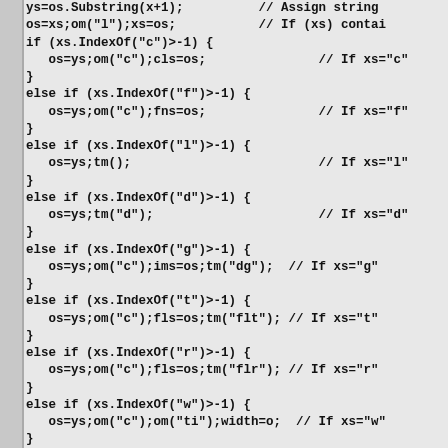Code listing showing if-else chain for string-based dispatch using IndexOf checks on variable xs, with assignments to os, cls, fns, ims, fls, width, height, and calls to om(), tm() functions.